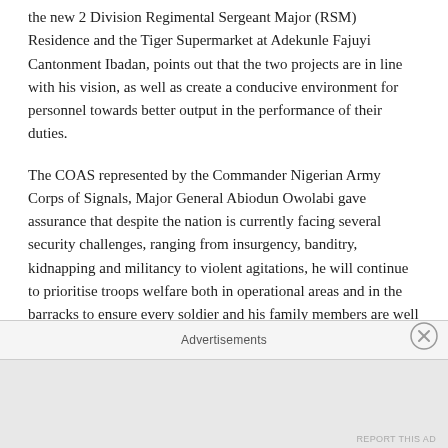the new 2 Division Regimental Sergeant Major (RSM) Residence and the Tiger Supermarket at Adekunle Fajuyi Cantonment Ibadan, points out that the two projects are in line with his vision, as well as create a conducive environment for personnel towards better output in the performance of their duties.
The COAS represented by the Commander Nigerian Army Corps of Signals, Major General Abiodun Owolabi gave assurance that despite the nation is currently facing several security challenges, ranging from insurgency, banditry, kidnapping and militancy to violent agitations, he will continue to prioritise troops welfare both in operational areas and in the barracks to ensure every soldier and his family members are well catered for.
He charged the troops to reciprocate this gesture by taking good care of the facilities that were provided for prolonged use. The COAS appreciated Officers and Soldiers of the
Advertisements
REPORT THIS AD